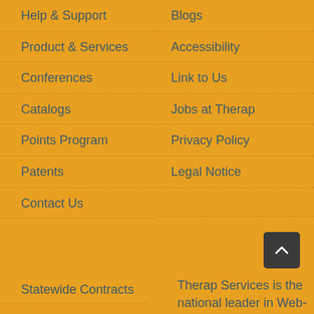Help & Support
Blogs
Product & Services
Accessibility
Conferences
Link to Us
Catalogs
Jobs at Therap
Points Program
Privacy Policy
Patents
Legal Notice
Contact Us
Statewide Contracts
Therap Services is the national leader in Web-